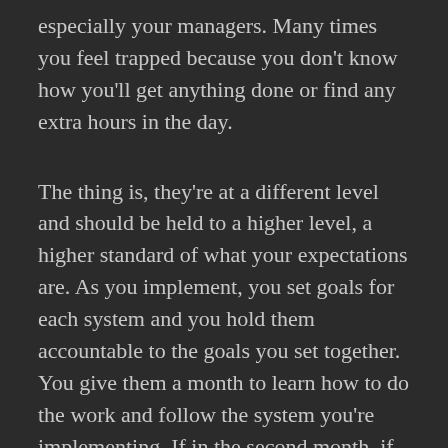especially your managers. Many times you feel trapped because you don't know how you'll get anything done or find any extra hours in the day.
The thing is, they're at a different level and should be held to a higher level, a higher standard of what your expectations are. As you implement, you set goals for each system and you hold them accountable to the goals you set together. You give them a month to learn how to do the work and follow the system you're implementing. If in the second month, if the work isn't getting done, the goals aren't being met, and all you're hearing is excuse, excuse, excuse, whine, whine, whine, you have a choice to make. You have to decide whether this manager has reached a point of not being able to do the job. It might be because they just can't do it, or they just don't care enough. If they're saboteur, it's that they don't care about you and your restaurant.